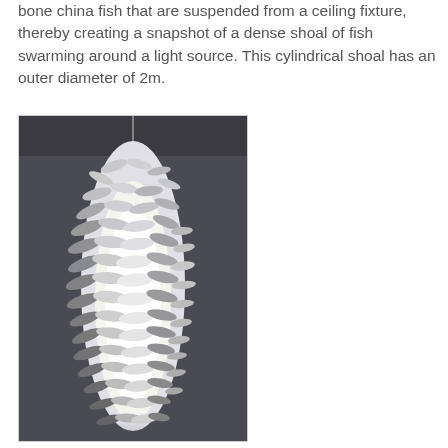bone china fish that are suspended from a ceiling fixture, thereby creating a snapshot of a dense shoal of fish swarming around a light source. This cylindrical shoal has an outer diameter of 2m.
[Figure (photo): A cylindrical chandelier-like light fixture made of many white bone china fish suspended from a ceiling, forming a dense shoal around a glowing light source. The fish create a layered, cylindrical form illuminated from within.]